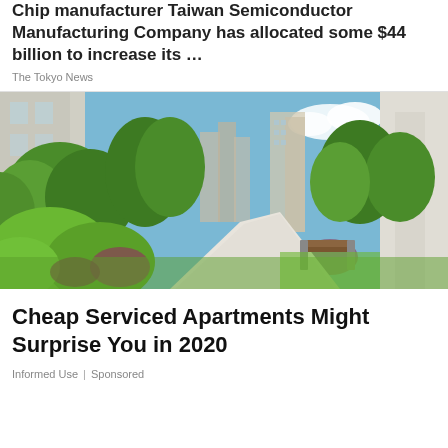Chip manufacturer Taiwan Semiconductor Manufacturing Company has allocated some $44 billion to increase its …
The Tokyo News
[Figure (photo): Lush green landscaped garden pathway between apartment buildings on a sunny day, with a wooden bench on the right side of the path]
Cheap Serviced Apartments Might Surprise You in 2020
Informed Use | Sponsored